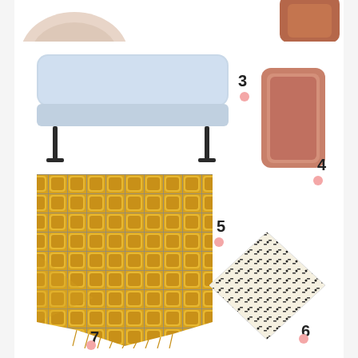[Figure (photo): Top-left: partial view of a beige/pink rounded object (possibly a cushion or lamp)]
[Figure (photo): Top-right: partial view of a terracotta/brown angular object]
[Figure (photo): Item 3: light blue bench/sofa with thin black metal legs]
[Figure (photo): Item 4: terracotta/peach colored rectangular tray or planter]
[Figure (photo): Item 5: cream colored square pillow with black dot and dash pattern]
[Figure (photo): Item 7: yellow and grey geometric patterned throw blanket with fringe]
3
4
5
6
7